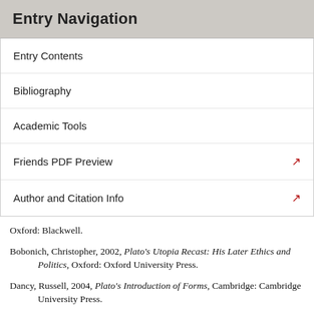Entry Navigation
Entry Contents
Bibliography
Academic Tools
Friends PDF Preview
Author and Citation Info
Oxford: Blackwell.
Bobonich, Christopher, 2002, Plato's Utopia Recast: His Later Ethics and Politics, Oxford: Oxford University Press.
Dancy, Russell, 2004, Plato's Introduction of Forms, Cambridge: Cambridge University Press.
Fine, Gail (ed.), 1999, Plato 1: Metaphysics and Epistemology, Oxford: Oxford University Press.
–– (ed.), 1999, Plato 2: Ethics, Politics, Religion, and the Soul, Oxford: Oxford University Press.